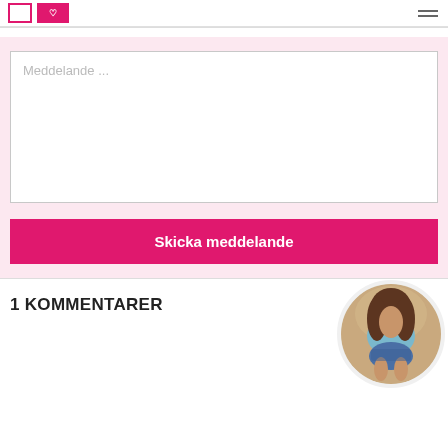Meddelande ...
Skicka meddelande
[Figure (photo): Circular avatar image of a woman in a light blue top and denim shorts, viewed from behind, posed in a crouching position]
1 KOMMENTARER